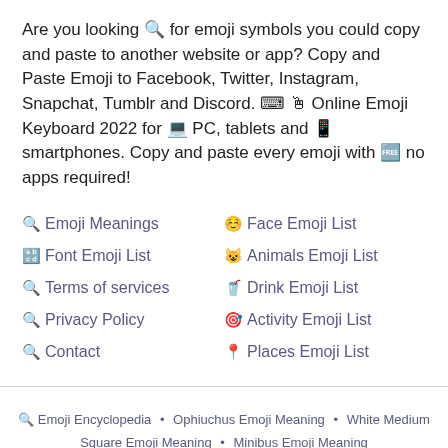Are you looking 🔍 for emoji symbols you could copy and paste to another website or app? Copy and Paste Emoji to Facebook, Twitter, Instagram, Snapchat, Tumblr and Discord. ⌨️ 🖱️ Online Emoji Keyboard 2022 for 💻 PC, tablets and 📱 smartphones. Copy and paste every emoji with 🆓 no apps required!
🔍 Emoji Meanings
☺ Face Emoji List
🔤 Font Emoji List
🐱 Animals Emoji List
🔍 Terms of services
🍹 Drink Emoji List
🔍 Privacy Policy
🎯 Activity Emoji List
🔍 Contact
📍 Places Emoji List
🔍 Emoji Encyclopedia • Ophiuchus Emoji Meaning • White Medium Square Emoji Meaning • Minibus Emoji Meaning
Emoji List © 2016 - 2022. All Rights Reserved. Designed with love ♥ in